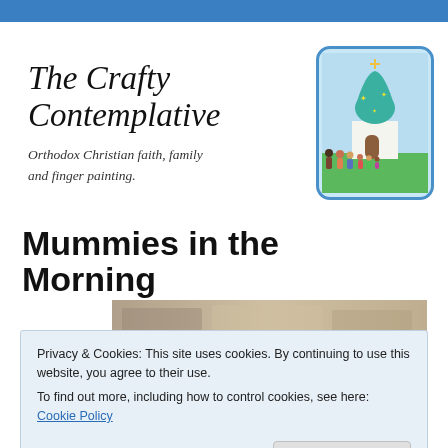The Crafty Contemplative
Orthodox Christian faith, family and finger painting.
[Figure (illustration): Cartoon illustration of an Orthodox church with a green onion dome topped with a cross, and a group of cartoon family figures standing in front on green grass, with light blue sky background, inside a rounded-corner box with blue border.]
Mummies in the Morning
[Figure (photo): Partial photograph showing what appears to be a kitchen or counter area with muted sepia/brown tones.]
Privacy & Cookies: This site uses cookies. By continuing to use this website, you agree to their use.
To find out more, including how to control cookies, see here: Cookie Policy
Close and accept